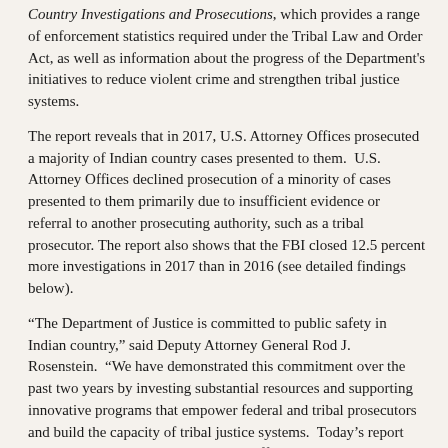Country Investigations and Prosecutions, which provides a range of enforcement statistics required under the Tribal Law and Order Act, as well as information about the progress of the Department's initiatives to reduce violent crime and strengthen tribal justice systems.
The report reveals that in 2017, U.S. Attorney Offices prosecuted a majority of Indian country cases presented to them.  U.S. Attorney Offices declined prosecution of a minority of cases presented to them primarily due to insufficient evidence or referral to another prosecuting authority, such as a tribal prosecutor. The report also shows that the FBI closed 12.5 percent more investigations in 2017 than in 2016 (see detailed findings below).
“The Department of Justice is committed to public safety in Indian country,” said Deputy Attorney General Rod J. Rosenstein.  “We have demonstrated this commitment over the past two years by investing substantial resources and supporting innovative programs that empower federal and tribal prosecutors and build the capacity of tribal justice systems.  Today’s report demonstrates that our work makes a difference.  Lasting public safety improvements in Indian country are best achieved when federal, state, and tribal law enforcement agencies work together.”
“The Justice Department’s Indian Country Investigations and Prosecutions Report reflects that the many coordinated efforts among United States Attorneys and tribal justice officials are making a difference,” said Trent Shores, U.S. Attorney for the Northern District of Oklahoma, and Chairman of the Attorney General’s Advisory Subcommittee on Native American Issues. “Our work